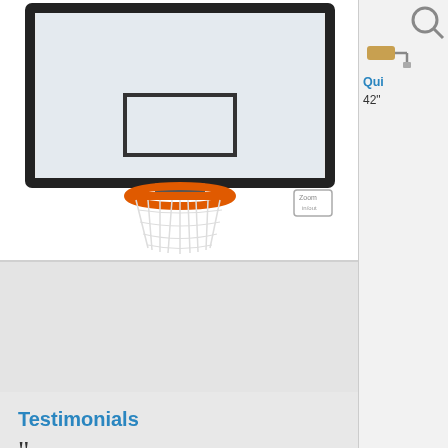[Figure (photo): Basketball hoop and backboard product photo showing orange rim with white net hanging down, clear/transparent backboard with black frame, viewed from below/front angle]
[Figure (photo): Thumbnail image of the same basketball hoop and backboard product, smaller view]
[Figure (illustration): Partial search icon (magnifying glass Q shape) in top right sidebar]
[Figure (illustration): Paint roller icon in right sidebar]
Qui
42"
Testimonials
““
I can't begin to tell you how much it is appreciated! This level of costumer service is rare these days. I will leave high marks on my feedback survey,...
A. G. - Mesa, AZ,
read more